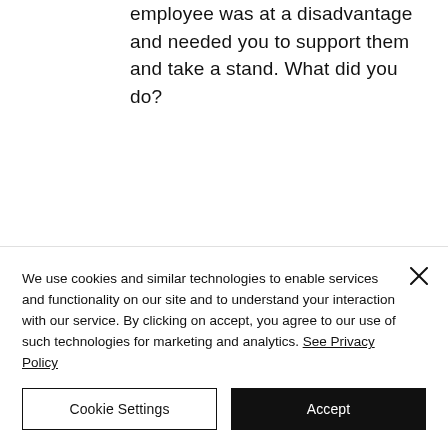employee was at a disadvantage and needed you to support them and take a stand. What did you do?
We use cookies and similar technologies to enable services and functionality on our site and to understand your interaction with our service. By clicking on accept, you agree to our use of such technologies for marketing and analytics. See Privacy Policy
Cookie Settings
Accept